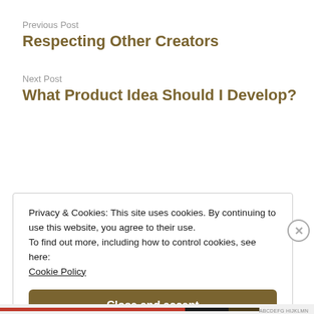Previous Post
Respecting Other Creators
Next Post
What Product Idea Should I Develop?
Privacy & Cookies: This site uses cookies. By continuing to use this website, you agree to their use.
To find out more, including how to control cookies, see here:
Cookie Policy
Close and accept